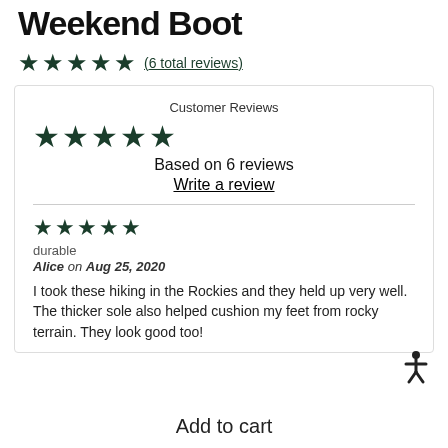Weekend Boot
★★★★★ (6 total reviews)
Customer Reviews
★★★★★ Based on 6 reviews Write a review
★★★★★ durable Alice on Aug 25, 2020 I took these hiking in the Rockies and they held up very well. The thicker sole also helped cushion my feet from rocky terrain. They look good too!
Add to cart